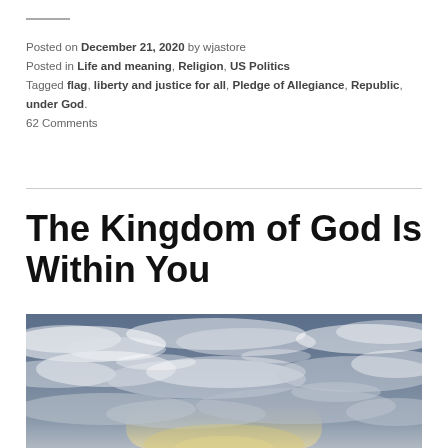Posted on December 21, 2020 by wjastore
Posted in Life and meaning, Religion, US Politics
Tagged flag, liberty and justice for all, Pledge of Allegiance, Republic, under God.
62 Comments
The Kingdom of God Is Within You
[Figure (photo): Photograph of a dramatic sky with scattered clouds and blue-grey tones, sunlight partially visible near the horizon through the clouds.]